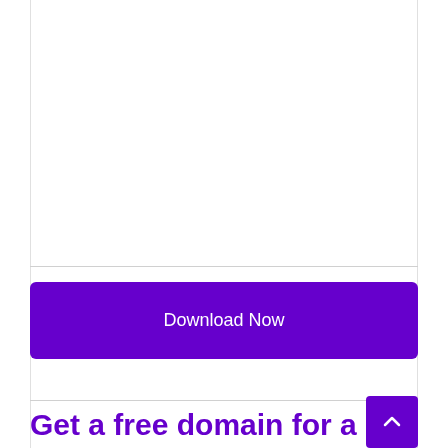[Figure (other): Download Now button — a large purple rounded rectangle button with white text reading 'Download Now']
Get a free domain for a year